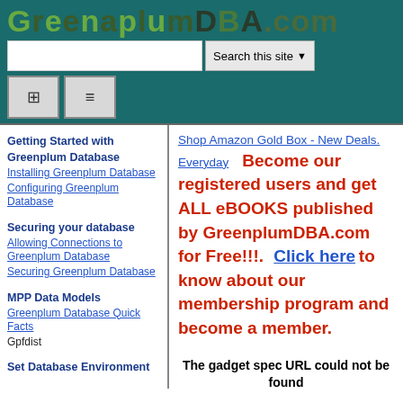GreenplumDBA.com
Getting Started with Greenplum Database
Installing Greenplum Database
Configuring Greenplum Database
Securing your database
Allowing Connections to Greenplum Database
Securing Greenplum Database
MPP Data Models
Greenplum Database Quick Facts
Gpfdist
Set Database Environment
Shop Amazon Gold Box - New Deals. Everyday   Become our registered users and get ALL eBOOKS published by GreenplumDBA.com for Free!!!.  Click here to know about our membership program and become a member.
The gadget spec URL could not be found